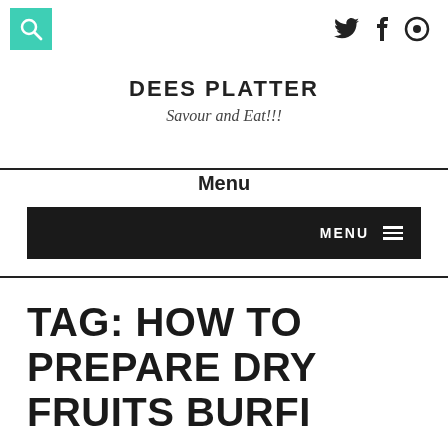[Figure (logo): Teal/turquoise square search button with magnifying glass icon, top-left header area]
[Figure (logo): Social media icons: Twitter bird, Facebook f, and a circular icon on the top-right header area]
DEES PLATTER
Savour and Eat!!!
Menu
[Figure (screenshot): Dark/black navigation menu bar with MENU text and hamburger icon on the right]
TAG: HOW TO PREPARE DRY FRUITS BURFI